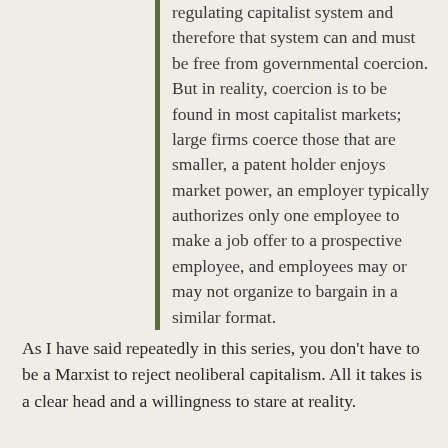regulating capitalist system and therefore that system can and must be free from governmental coercion. But in reality, coercion is to be found in most capitalist markets; large firms coerce those that are smaller, a patent holder enjoys market power, an employer typically authorizes only one employee to make a job offer to a prospective employee, and employees may or may not organize to bargain in a similar format.
As I have said repeatedly in this series, you don't have to be a Marxist to reject neoliberal capitalism. All it takes is a clear head and a willingness to stare at reality.